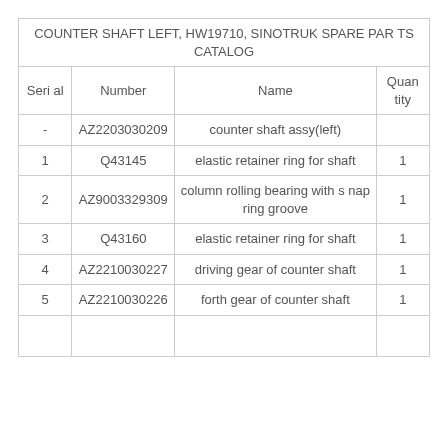| Serial | Number | Name | Quantity |
| --- | --- | --- | --- |
| - | AZ2203030209 | counter shaft assy(left) |  |
| 1 | Q43145 | elastic retainer ring for shaft | 1 |
| 2 | AZ9003329309 | column rolling bearing with snap ring groove | 1 |
| 3 | Q43160 | elastic retainer ring for shaft | 1 |
| 4 | AZ2210030227 | driving gear of counter shaft | 1 |
| 5 | AZ2210030226 | forth gear of counter shaft | 1 |